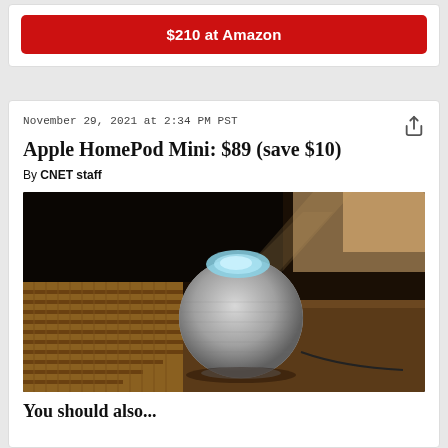$210 at Amazon
November 29, 2021 at 2:34 PM PST
Apple HomePod Mini: $89 (save $10)
By CNET staff
[Figure (photo): Apple HomePod Mini smart speaker sitting on a bamboo mat surface in warm ambient lighting, showing the spherical mesh design with a glowing top display]
You should also...